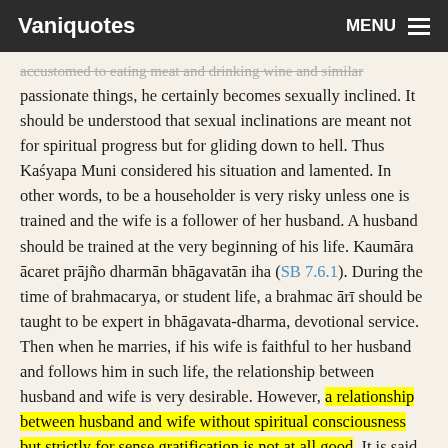Vaniquotes   MENU
accustomed to eating meat and drinking wine and similar passionate things, he certainly becomes sexually inclined. It should be understood that sexual inclinations are meant not for spiritual progress but for gliding down to hell. Thus Kaśyapa Muni considered his situation and lamented. In other words, to be a householder is very risky unless one is trained and the wife is a follower of her husband. A husband should be trained at the very beginning of his life. Kaumāra ācaret prājño dharmān bhāgavatān iha (SB 7.6.1). During the time of brahmacarya, or student life, a brahmacārī should be taught to be expert in bhāgavata-dharma, devotional service. Then when he marries, if his wife is faithful to her husband and follows him in such life, the relationship between husband and wife is very desirable. However, a relationship between husband and wife without spiritual consciousness but strictly for sense gratification is not at all good. It is said in Śrīmad-Bhāgavatam (12.2.3) that